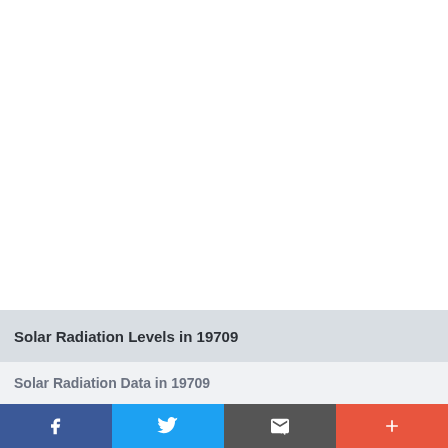Solar Radiation Levels in 19709
Solar Radiation Data in 19709
[Figure (other): Social share bar with Facebook, Twitter, Email, and More (+) buttons]